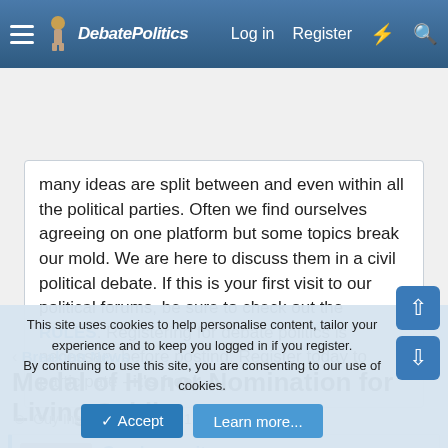DebatePolitics — Log in | Register
many ideas are split between and even within all the political parties. Often we find ourselves agreeing on one platform but some topics break our mold. We are here to discuss them in a civil political debate. If this is your first visit to our political forums, be sure to check out the RULES. Registering for debate politics is necessary before posting. Register today to participate - it's free!
Breaking News
Medal of Honor Nomination for Living Soldier
Guy Incognito · Jul 1, 2010
Guy Incognito — DP Veteran
This site uses cookies to help personalise content, tailor your experience and to keep you logged in if you register.
By continuing to use this site, you are consenting to our use of cookies.